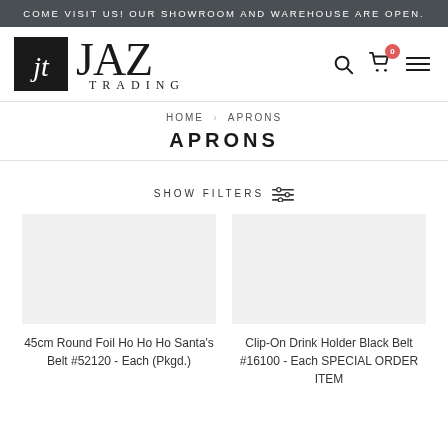COME VISIT US! OUR SHOWROOM AND WAREHOUSE ARE OPEN.
[Figure (logo): Jaz Trading logo with stylized 'jt' monogram in black box and serif JAZ TRADING text]
HOME  APRONS
APRONS
SHOW FILTERS
45cm Round Foil Ho Ho Ho Santa's Belt #52120 - Each (Pkgd.)
Clip-On Drink Holder Black Belt #16100 - Each SPECIAL ORDER ITEM